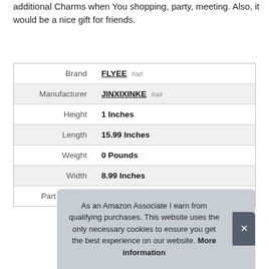additional Charms when You shopping, party, meeting. Also, it would be a nice gift for friends.
|  |  |
| --- | --- |
| Brand | FLYEE #ad |
| Manufacturer | JINXIXINKE #ad |
| Height | 1 Inches |
| Length | 15.99 Inches |
| Weight | 0 Pounds |
| Width | 8.99 Inches |
| Part Number | FLY2AP-S8/Flower-Rose gold |
As an Amazon Associate I earn from qualifying purchases. This website uses the only necessary cookies to ensure you get the best experience on our website. More information